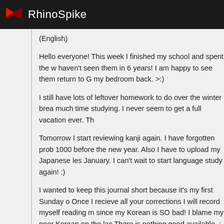RhinoSpike
(English)
Hello everyone! This week I finished my school and spent the w haven't seen them in 6 years! I am happy to see them return to G my bedroom back. >:)
I still have lots of leftover homework to do over the winter brea much time studying. I never seem to get a full vacation ever. Th
Tomorrow I start reviewing kanji again. I have forgotten prob 1000 before the new year. Also I have to upload my Japanese les January. I can't wait to start language study again! :)
I wanted to keep this journal short because it's my first Sunday Once I recieve all your corrections I will record myself reading since my Korean is SO bad! I blame my poor Korean on the lac There is nothing good available. :< I wish you all a Merry Christmas!